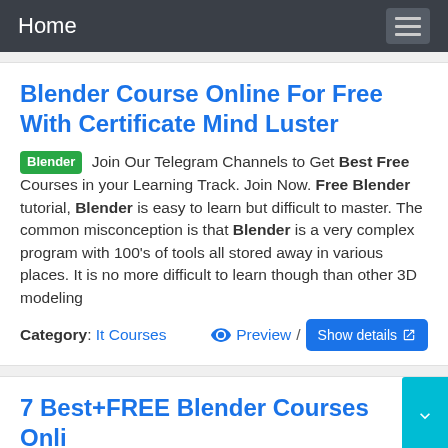Home
Blender Course Online For Free With Certificate Mind Luster
Blender Join Our Telegram Channels to Get Best Free Courses in your Learning Track. Join Now. Free Blender tutorial, Blender is easy to learn but difficult to master. The common misconception is that Blender is a very complex program with 100's of tools all stored away in various places. It is no more difficult to learn though than other 3D modeling
Category: It Courses   Preview /  Show details
7 Best+FREE Blender Courses Online With Blender Training